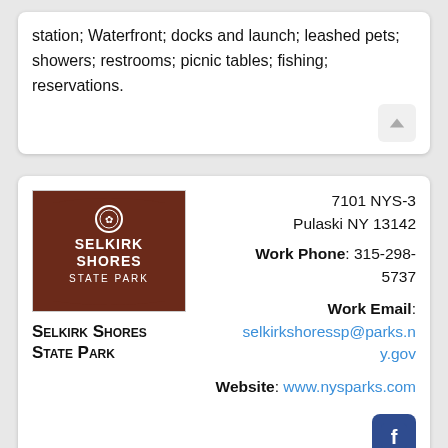station; Waterfront; docks and launch; leashed pets; showers; restrooms; picnic tables; fishing; reservations.
7101 NYS-3
Pulaski NY 13142
Work Phone: 315-298-5737
Work Email: selkirkshoressp@parks.ny.gov
Website: www.nysparks.com
[Figure (photo): Sign for Selkirk Shores State Park - brown sign with white text and emblem]
Selkirk Shores State Park